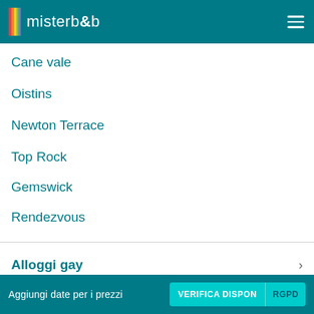misterb&b
Cane vale
Oistins
Newton Terrace
Top Rock
Gemswick
Rendezvous
Alloggi gay
Guida turistica
Aggiungi date per i prezzi  VERIFICA DISPON  RGPD